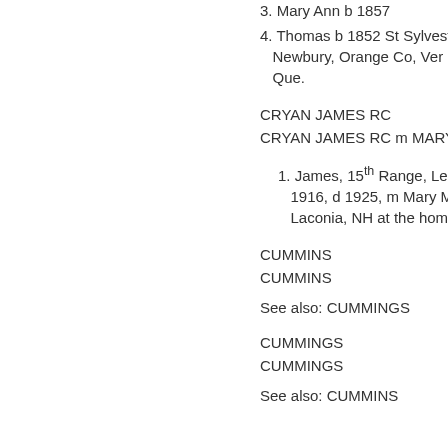3. Mary Ann b 1857
4. Thomas b 1852 St Sylvest Newbury, Orange Co, Ver Que.
CRYAN JAMES RC
CRYAN JAMES RC m MARY
1. James, 15th Range, Leeds 1916, d 1925, m Mary Mc Laconia, NH at the home
CUMMINS
CUMMINS
See also: CUMMINGS
CUMMINGS
CUMMINGS
See also: CUMMINS